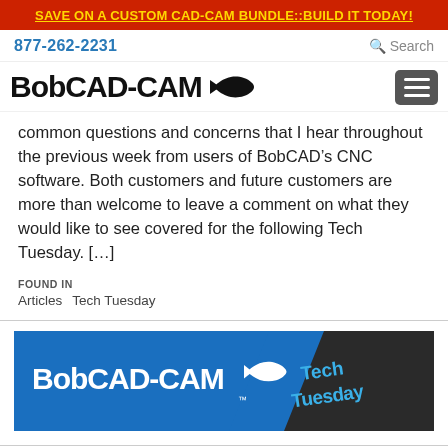SAVE ON A CUSTOM CAD-CAM BUNDLE::BUILD IT TODAY!
877-262-2231   Search
[Figure (logo): BobCAD-CAM logo with fish icon and hamburger menu button]
common questions and concerns that I hear throughout the previous week from users of BobCAD’s CNC software. Both customers and future customers are more than welcome to leave a comment on what they would like to see covered for the following Tech Tuesday. [...]
FOUND IN
Articles   Tech Tuesday
[Figure (logo): BobCAD-CAM Tech Tuesday banner with blue background, white logo text, fish icon, and dark panel with 'Tech Tuesday' in blue text]
[Figure (illustration): Partial illustration visible at bottom of page, appears to be a blue geometric shape or logo element]